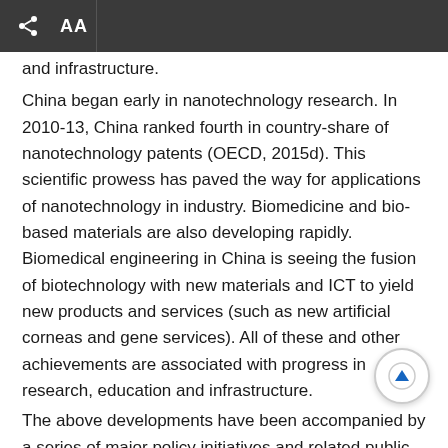AA
and infrastructure.
China began early in nanotechnology research. In 2010-13, China ranked fourth in country-share of nanotechnology patents (OECD, 2015d). This scientific prowess has paved the way for applications of nanotechnology in industry. Biomedicine and bio-based materials are also developing rapidly. Biomedical engineering in China is seeing the fusion of biotechnology with new materials and ICT to yield new products and services (such as new artificial corneas and gene services). All of these and other achievements are associated with progress in research, education and infrastructure.
The above developments have been accompanied by a series of major policy initiatives and related public investments, the main aim of which is to advance the use of digital technologies in manufacturing. Made in China 2025, launched in 2015, is part of a 30-year strategy to